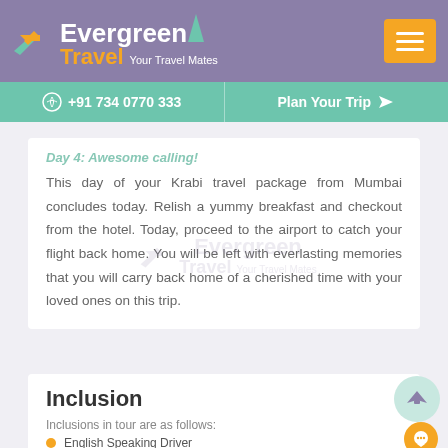Evergreen Travel Your Travel Mates | +91 734 0770 333 | Plan Your Trip
Day 4: Awesome calling!
This day of your Krabi travel package from Mumbai concludes today. Relish a yummy breakfast and checkout from the hotel. Today, proceed to the airport to catch your flight back home. You will be left with everlasting memories that you will carry back home of a cherished time with your loved ones on this trip.
Inclusion
Inclusions in tour are as follows:
English Speaking Driver